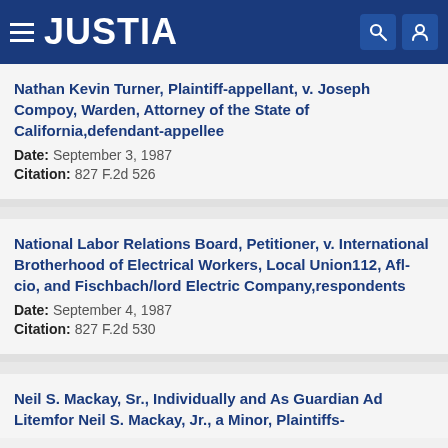JUSTIA
Nathan Kevin Turner, Plaintiff-appellant, v. Joseph Compoy, Warden, Attorney of the State of California,defendant-appellee
Date: September 3, 1987
Citation: 827 F.2d 526
National Labor Relations Board, Petitioner, v. International Brotherhood of Electrical Workers, Local Union112, Afl-cio, and Fischbach/lord Electric Company,respondents
Date: September 4, 1987
Citation: 827 F.2d 530
Neil S. Mackay, Sr., Individually and As Guardian Ad Litemfor Neil S. Mackay, Jr., a Minor, Plaintiffs-